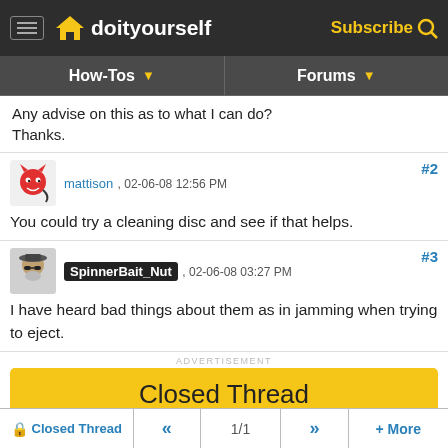doityourself — Subscribe
How-Tos | Forums
Any advise on this as to what I can do? Thanks.
mattison , 02-06-08 12:56 PM #2
You could try a cleaning disc and see if that helps.
SpinnerBait_Nut , 02-06-08 03:27 PM #3
I have heard bad things about them as in jamming when trying to eject.
ADVERTISEMENT
Closed Thread
ADVERTISEMENT
Didn't find your answer? Similar Posts
Closed Thread  «  1/1  »  + More